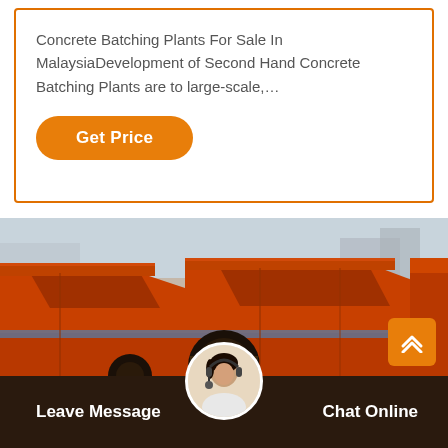Concrete Batching Plants For Sale In MalaysiaDevelopment of Second Hand Concrete Batching Plants are to large-scale,…
Get Price
[Figure (photo): Large orange industrial hammer mill or crusher machines parked in a yard, showing heavy red-orange metal frames and black belt/pulley systems, with industrial buildings in background.]
Leave Message
Chat Online